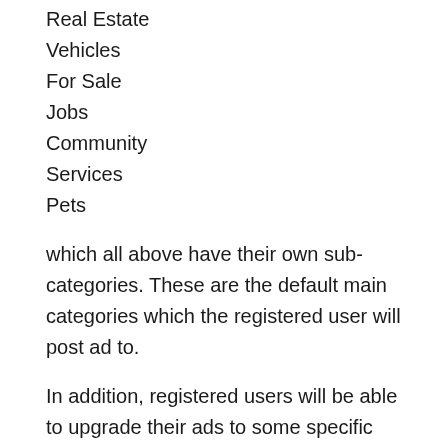Real Estate
Vehicles
For Sale
Jobs
Community
Services
Pets
which all above have their own sub-categories. These are the default main categories which the registered user will post ad to.
In addition, registered users will be able to upgrade their ads to some specific categories at the last step before the confirmation step. which will be easily access from the home page. These specific featured ad categories are:
Fire Sale
Price Drop
Expat Living
New Ads (last 7 / last 30 days)